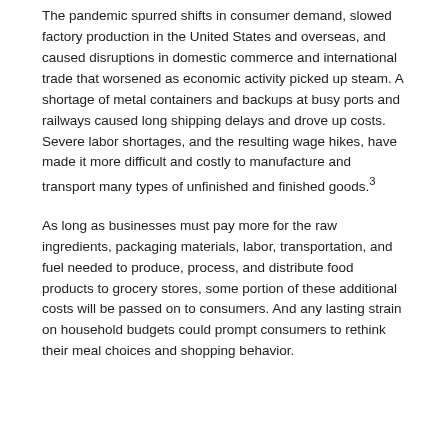The pandemic spurred shifts in consumer demand, slowed factory production in the United States and overseas, and caused disruptions in domestic commerce and international trade that worsened as economic activity picked up steam. A shortage of metal containers and backups at busy ports and railways caused long shipping delays and drove up costs. Severe labor shortages, and the resulting wage hikes, have made it more difficult and costly to manufacture and transport many types of unfinished and finished goods.3
As long as businesses must pay more for the raw ingredients, packaging materials, labor, transportation, and fuel needed to produce, process, and distribute food products to grocery stores, some portion of these additional costs will be passed on to consumers. And any lasting strain on household budgets could prompt consumers to rethink their meal choices and shopping behavior.